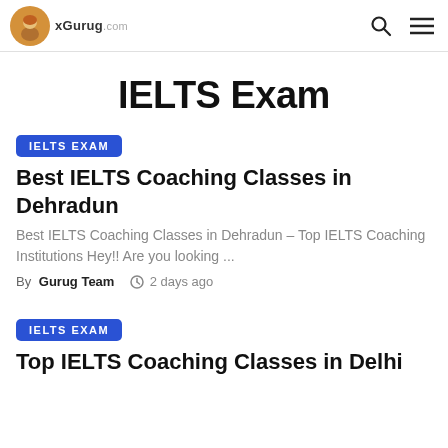Gurug.com
IELTS Exam
IELTS EXAM
Best IELTS Coaching Classes in Dehradun
Best IELTS Coaching Classes in Dehradun – Top IELTS Coaching Institutions Hey!! Are you looking ...
By Gurug Team  2 days ago
IELTS EXAM
Top IELTS Coaching Classes in Delhi